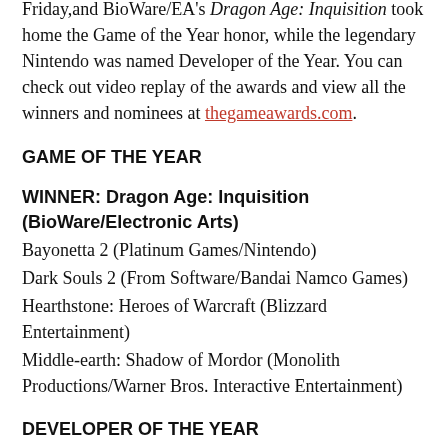Friday,and BioWare/EA's Dragon Age: Inquisition took home the Game of the Year honor, while the legendary Nintendo was named Developer of the Year. You can check out video replay of the awards and view all the winners and nominees at thegameawards.com.
GAME OF THE YEAR
WINNER: Dragon Age: Inquisition (BioWare/Electronic Arts)
Bayonetta 2 (Platinum Games/Nintendo)
Dark Souls 2 (From Software/Bandai Namco Games)
Hearthstone: Heroes of Warcraft (Blizzard Entertainment)
Middle-earth: Shadow of Mordor (Monolith Productions/Warner Bros. Interactive Entertainment)
DEVELOPER OF THE YEAR